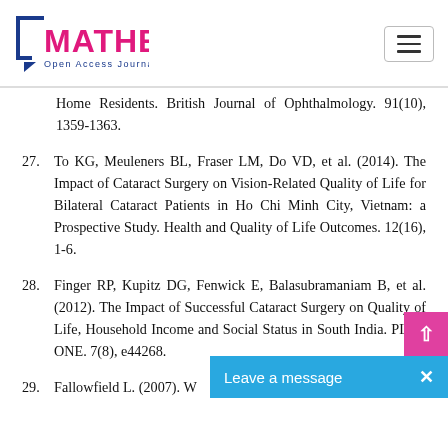MATHEWS Open Access Journals
Home Residents. British Journal of Ophthalmology. 91(10), 1359-1363.
27. To KG, Meuleners BL, Fraser LM, Do VD, et al. (2014). The Impact of Cataract Surgery on Vision-Related Quality of Life for Bilateral Cataract Patients in Ho Chi Minh City, Vietnam: a Prospective Study. Health and Quality of Life Outcomes. 12(16), 1-6.
28. Finger RP, Kupitz DG, Fenwick E, Balasubramaniam B, et al. (2012). The Impact of Successful Cataract Surgery on Quality of Life, Household Income and Social Status in South India. PLOS ONE. 7(8), e44268.
29. Fallowfield L. (2007). W…